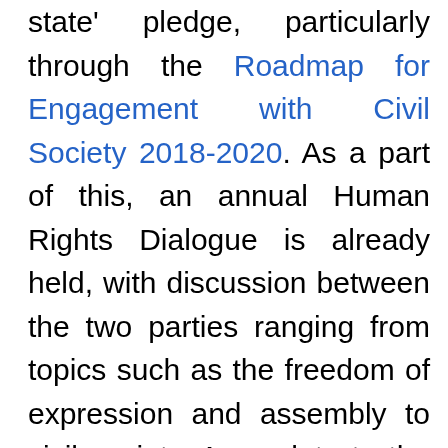state' pledge, particularly through the Roadmap for Engagement with Civil Society 2018-2020. As a part of this, an annual Human Rights Dialogue is already held, with discussion between the two parties ranging from topics such as the freedom of expression and assembly to civil society. An update to the Roadmap could be thus timely and effective, in order to take into account the realities of Tokayev's pledges related to civil society and the consideration that he came into office in 2019. Increased attention should be placed on the work of the EU Delegation in Nur Sultan, where projects under the European Instrument